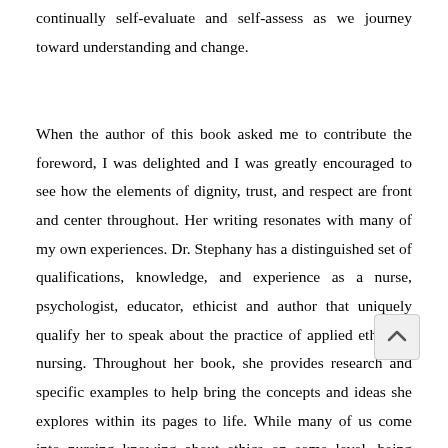continually self-evaluate and self-assess as we journey toward understanding and change.
When the author of this book asked me to contribute the foreword, I was delighted and I was greatly encouraged to see how the elements of dignity, trust, and respect are front and center throughout. Her writing resonates with many of my own experiences. Dr. Stephany has a distinguished set of qualifications, knowledge, and experience as a nurse, psychologist, educator, ethicist and author that uniquely qualify her to speak about the practice of applied ethics in nursing. Throughout her book, she provides research and specific examples to help bring the concepts and ideas she explores within its pages to life. While many of us come into nursing knowing about ethics on some level, being given the